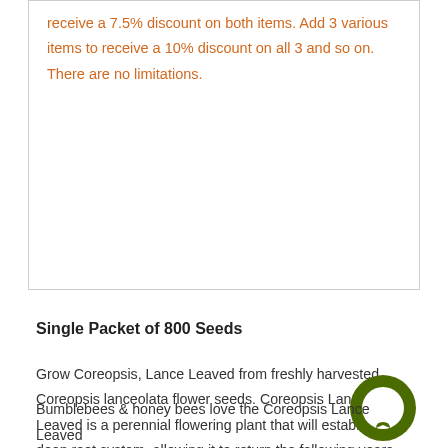receive a 7.5% discount on both items. Add 3 various items to receive a 10% discount on all 3 and so on. There are no limitations.
Single Packet of 800 Seeds
Grow Coreopsis, Lance Leaved from freshly harvested Coreopsis lanceolata flower seeds. Coreopsis Lance Leaved is a perennial flowering plant that will establish a deep root system, allowing it to return the following years. The plants themselves grow to a mature height of about 18 to 36 inches tall, producing beautiful, golden-yellow flowers blooms open up to a width of about 1 to 2 inches in
Bumblebees & honey bees love the Coreopsis Lance Leaved